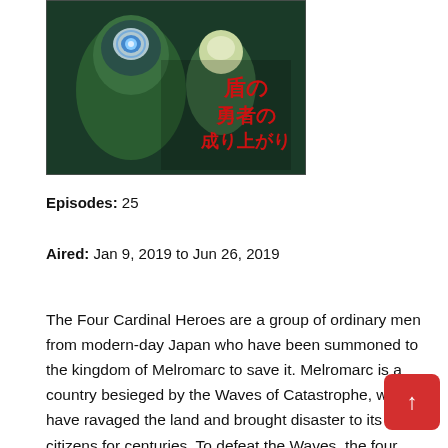[Figure (illustration): Anime cover art for 'The Rising of the Shield Hero' (盾の勇者の成り上がり) showing two armored fantasy characters with Japanese title text in red]
Episodes: 25
Aired: Jan 9, 2019 to Jun 26, 2019
The Four Cardinal Heroes are a group of ordinary men from modern-day Japan who have been summoned to the kingdom of Melromarc to save it. Melromarc is a country besieged by the Waves of Catastrophe, which have ravaged the land and brought disaster to its citizens for centuries. To defeat the Waves, the four heroes are given a sword, spear, bow, a shield. Naofumi Iwatani, an otaku, is cursed with the role of